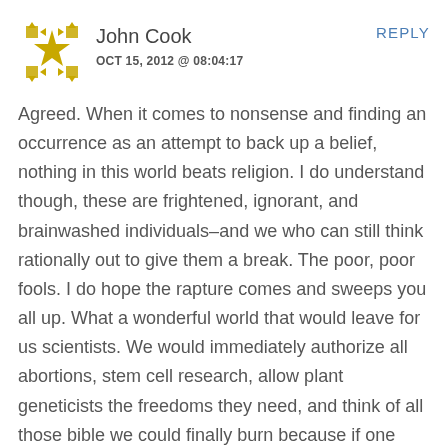[Figure (logo): Gold/yellow star-like decorative avatar icon for user John Cook]
John Cook
OCT 15, 2012 @ 08:04:17
REPLY
Agreed. When it comes to nonsense and finding an occurrence as an attempt to back up a belief, nothing in this world beats religion. I do understand though, these are frightened, ignorant, and brainwashed individuals–and we who can still think rationally out to give them a break. The poor, poor fools. I do hope the rapture comes and sweeps you all up. What a wonderful world that would leave for us scientists. We would immediately authorize all abortions, stem cell research, allow plant geneticists the freedoms they need, and think of all those bible we could finally burn because if one book is actually dangerous, that is the one.
I follow...